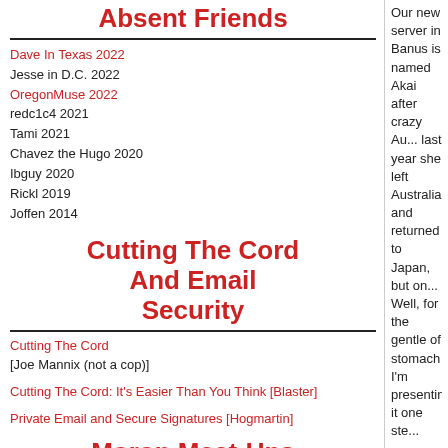Absent Friends
Dave In Texas 2022
Jesse in D.C. 2022
OregonMuse 2022
redc1c4 2021
Tami 2021
Chavez the Hugo 2020
Ibguy 2020
Rickl 2019
Joffen 2014
Cutting The Cord And Email Security
Cutting The Cord [Joe Mannix (not a cop)]
Cutting The Cord: It's Easier Than You Think [Blaster]
Private Email and Secure Signatures [Hogmartin]
Moron Meet-Ups
1st Annual Alaska MoMe: 7/15-7/17/2022, Willow, Alaska email for info
Texas MoMe 2022: 10/21/2022-
Our new server in Banus is named Akai after crazy Au... last year she left Australia and returned to Japan, but on... Well, for the gentle of stomach I'm presenting it one ste...
Disclaimer: You can take the sheila out of Australia, bu... particularly if she has Amazon Prime.
posted by Pixy Misa at 04:43 AM
| Access Comments